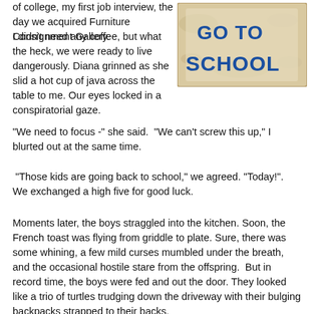of college, my first job interview, the day we acquired Furniture Consignment Gallery.
[Figure (photo): A cake with blue frosting text reading 'GO TO SCHOOL' on a light background]
I didn't need any coffee, but what the heck, we were ready to live dangerously. Diana grinned as she slid a hot cup of java across the table to me. Our eyes locked in a conspiratorial gaze.
"We need to focus -" she said.  "We can't screw this up," I blurted out at the same time.
"Those kids are going back to school," we agreed. "Today!". We exchanged a high five for good luck.
Moments later, the boys straggled into the kitchen. Soon, the French toast was flying from griddle to plate. Sure, there was some whining, a few mild curses mumbled under the breath, and the occasional hostile stare from the offspring.  But in record time, the boys were fed and out the door. They looked like a trio of turtles trudging down the driveway with their bulging backpacks strapped to their backs.